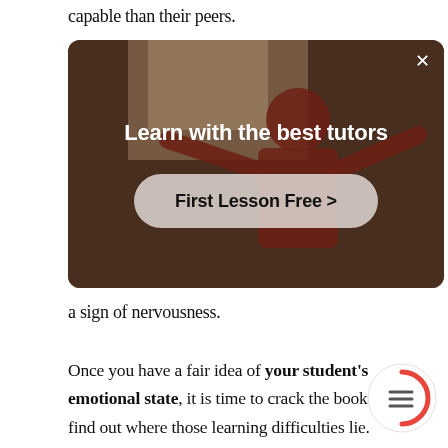capable than their peers.
[Figure (screenshot): Advertisement overlay with a background photo of a person in a room. Shows text 'Learn with the best tutors' and a button 'First Lesson Free >' with a close (×) button in the top right corner.]
a sign of nervousness.
Once you have a fair idea of your student's emotional state, it is time to crack the books and find out where those learning difficulties lie. When those have been ascertained, you will have a on how best to proceed with this student.